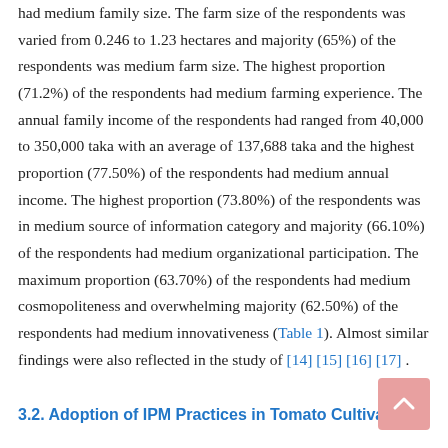had medium family size. The farm size of the respondents was varied from 0.246 to 1.23 hectares and majority (65%) of the respondents was medium farm size. The highest proportion (71.2%) of the respondents had medium farming experience. The annual family income of the respondents had ranged from 40,000 to 350,000 taka with an average of 137,688 taka and the highest proportion (77.50%) of the respondents had medium annual income. The highest proportion (73.80%) of the respondents was in medium source of information category and majority (66.10%) of the respondents had medium organizational participation. The maximum proportion (63.70%) of the respondents had medium cosmopoliteness and overwhelming majority (62.50%) of the respondents had medium innovativeness (Table 1). Almost similar findings were also reflected in the study of [14] [15] [16] [17] .
3.2. Adoption of IPM Practices in Tomato Cultivation